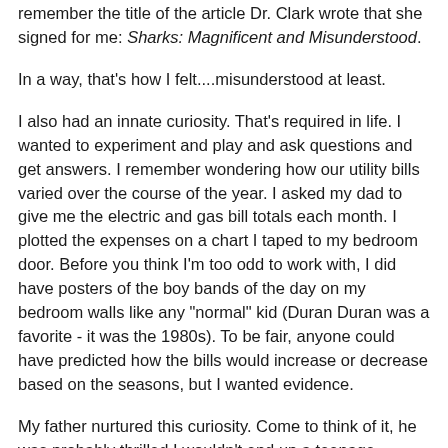remember the title of the article Dr. Clark wrote that she signed for me: Sharks: Magnificent and Misunderstood.
In a way, that's how I felt....misunderstood at least.
I also had an innate curiosity. That's required in life. I wanted to experiment and play and ask questions and get answers. I remember wondering how our utility bills varied over the course of the year. I asked my dad to give me the electric and gas bill totals each month. I plotted the expenses on a chart I taped to my bedroom door. Before you think I'm too odd to work with, I did have posters of the boy bands of the day on my bedroom walls like any "normal" kid (Duran Duran was a favorite - it was the 1980s). To be fair, anyone could have predicted how the bills would increase or decrease based on the seasons, but I wanted evidence.
My father nurtured this curiosity. Come to think of it, he was probably thrilled I wouldn't end up a teenage statistic. Girls who post utility expenses on the bedroom door don't get many dates.